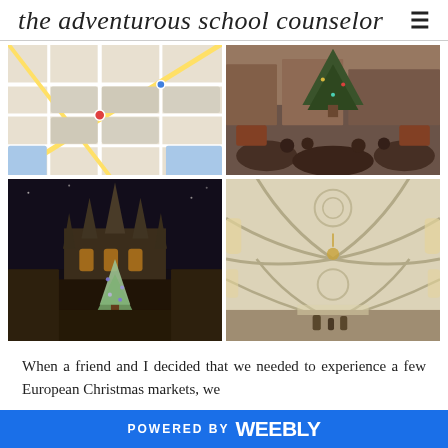the adventurous school counselor
[Figure (photo): Grid of four travel photos: top-left is a colorful city map, top-right is a crowded European Christmas market with a large Christmas tree, bottom-left is a Gothic cathedral lit up at night with a Christmas tree in front, bottom-right is the vaulted ceiling interior of a historic hall or church.]
When a friend and I decided that we needed to experience a few European Christmas markets, we
POWERED BY weebly